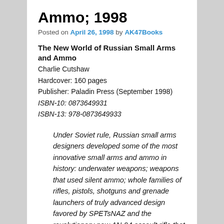Ammo; 1998
Posted on April 26, 1998 by AK47Books
The New World of Russian Small Arms and Ammo
Charlie Cutshaw
Hardcover: 160 pages
Publisher: Paladin Press (September 1998)
ISBN-10: 0873649931
ISBN-13: 978-0873649933
Under Soviet rule, Russian small arms designers developed some of the most innovative small arms and ammo in history: underwater weapons; weapons that used silent ammo; whole families of rifles, pistols, shotguns and grenade launchers of truly advanced design favored by SPETsNAZ and the revolutionary new AN-94 assault rifle that is destined to replace the AK-74. This book contains detailed descriptions, specs and illustrations of the AK-74, 755, the standard...